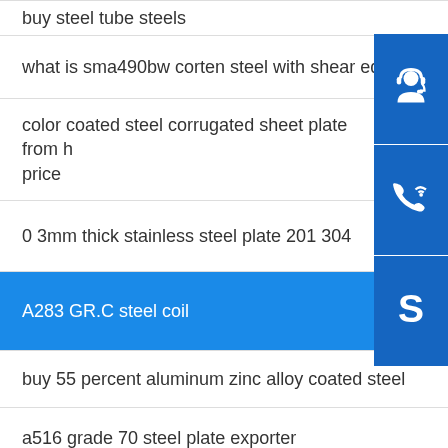buy steel tube steels
what is sma490bw corten steel with shear edges
color coated steel corrugated sheet plate from h price
0 3mm thick stainless steel plate 201 304
A283 GR.C steel coil
buy 55 percent aluminum zinc alloy coated steel
a516 grade 70 steel plate exporter
high quality 304 strip 316 316l coil
motorcycle using s235jr cold drawn seamless steel